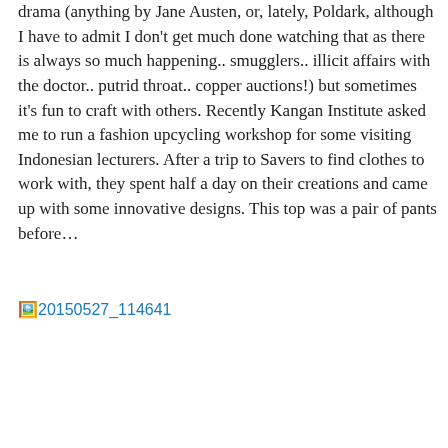drama (anything by Jane Austen, or, lately, Poldark, although I have to admit I don't get much done watching that as there is always so much happening.. smugglers.. illicit affairs with the doctor.. putrid throat.. copper auctions!) but sometimes it's fun to craft with others. Recently Kangan Institute asked me to run a fashion upcycling workshop for some visiting Indonesian lecturers. After a trip to Savers to find clothes to work with, they spent half a day on their creations and came up with some innovative designs. This top was a pair of pants before…
[Figure (other): Broken image placeholder link labeled '20150527_114641']